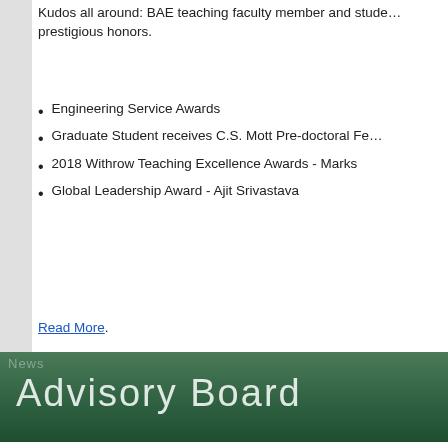Kudos all around: BAE teaching faculty member and students receive prestigious honors.
Engineering Service Awards
Graduate Student receives C.S. Mott Pre-doctoral Fe…
2018 Withrow Teaching Excellence Awards - Marks
Global Leadership Award - Ajit Srivastava
Read More.
[Figure (illustration): Green banner with 'Advisory Board' text in light thin font]
2017/18 Industry Advisory Board
[Figure (photo): Group photo of approximately 25 people standing in front of a building with an arched doorway]